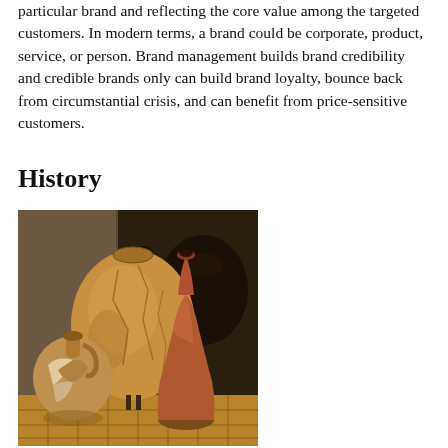particular brand and reflecting the core value among the targeted customers. In modern terms, a brand could be corporate, product, service, or person. Brand management builds brand credibility and credible brands only can build brand loyalty, bounce back from circumstantial crisis, and can benefit from price-sensitive customers.
History
[Figure (photo): A photograph of three ancient pottery vessels or amphorae arranged on a tiled floor against a stone wall. The central vessel is large and round with two small handles at the top. To the left is a shorter, rounder jug with white and terracotta coloring. To the right is a tall narrow-necked vase in reddish-brown tones. The background features a dark stone or plastered wall.]